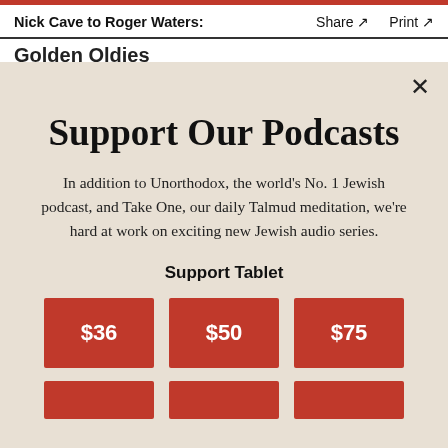Nick Cave to Roger Waters:   Share ↗   Print ↗
Golden Oldies
Support Our Podcasts
In addition to Unorthodox, the world's No. 1 Jewish podcast, and Take One, our daily Talmud meditation, we're hard at work on exciting new Jewish audio series.
Support Tablet
$36
$50
$75